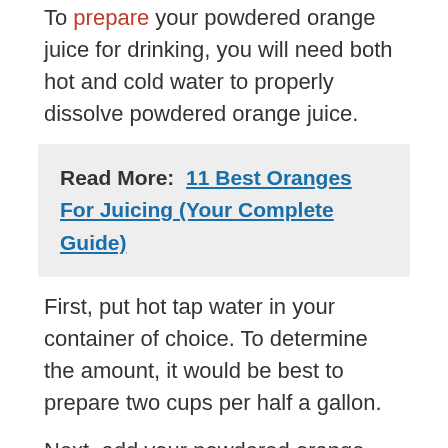To prepare your powdered orange juice for drinking, you will need both hot and cold water to properly dissolve powdered orange juice.
Read More: 11 Best Oranges For Juicing (Your Complete Guide)
First, put hot tap water in your container of choice. To determine the amount, it would be best to prepare two cups per half a gallon.
Next, add your powdered orange juice mix to